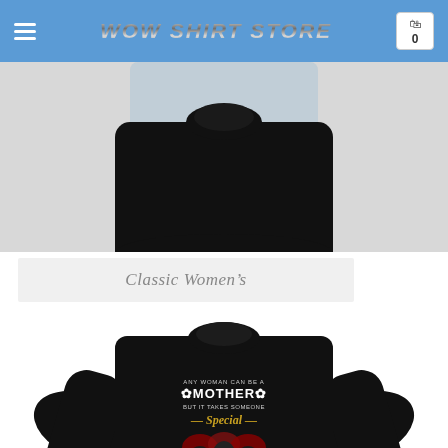WOW SHIRT STORE
[Figure (photo): Black women's shirt top portion on light gray background, showing collar and upper body area]
Classic Women's
[Figure (photo): Black long-sleeve women's shirt with text reading 'Any woman can be a Mother but it takes someone Special to be a Dog Mom' with Rottweiler dogs and floral design]